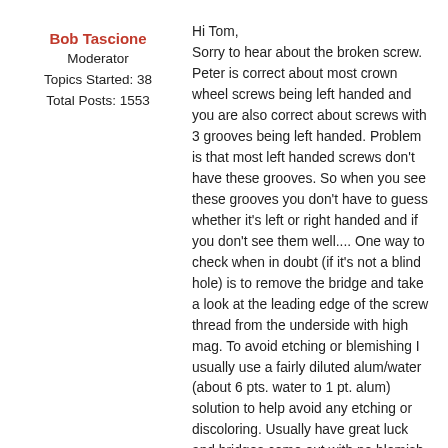Bob Tascione
Moderator
Topics Started: 38
Total Posts: 1553
Hi Tom,
Sorry to hear about the broken screw. Peter is correct about most crown wheel screws being left handed and you are also correct about screws with 3 grooves being left handed. Problem is that most left handed screws don't have these grooves. So when you see these grooves you don't have to guess whether it's left or right handed and if you don't see them well.... One way to check when in doubt (if it's not a blind hole) is to remove the bridge and take a look at the leading edge of the screw thread from the underside with high mag. To avoid etching or blemishing I usually use a fairly diluted alum/water (about 6 pts. water to 1 pt. alum) solution to help avoid any etching or discoloring. Usually have great luck and bridges come out with no blemish at all but I still like to test a little on the underside of the plate or bridge before soaking. I usually submerge the entire bridge so that no line is left across the surface in case the solution reacts but is